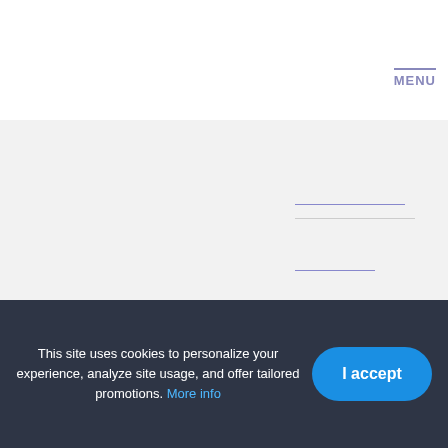MENU
This site uses cookies to personalize your experience, analyze site usage, and offer tailored promotions. More info
I accept